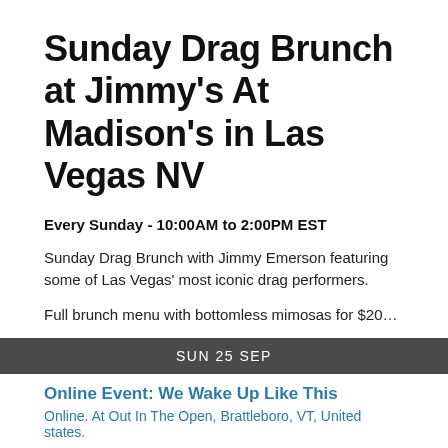Sunday Drag Brunch at Jimmy's At Madison's in Las Vegas NV
Every Sunday - 10:00AM to 2:00PM EST
Sunday Drag Brunch with Jimmy Emerson featuring some of Las Vegas' most iconic drag performers.
Full brunch menu with bottomless mimosas for $20…
SUN 25 SEP
Online Event: We Wake Up Like This
Online. At Out In The Open, Brattleboro, VT, United states.
Online Event: We Wake Up Like This